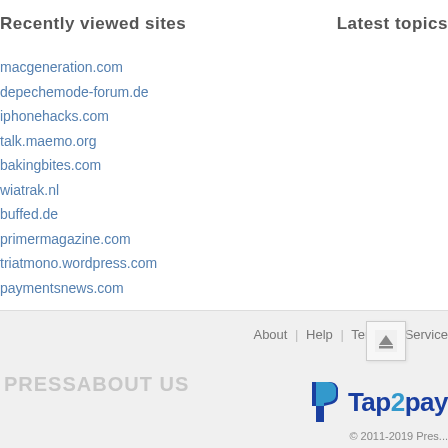Recently viewed sites
Latest topics
macgeneration.com
depechemode-forum.de
iphonehacks.com
talk.maemo.org
bakingbites.com
wiatrak.nl
buffed.de
primermagazine.com
triatmono.wordpress.com
paymentsnews.com
PRESSABOUT US
About | Help | Terms of Service
[Figure (logo): Tap2pay logo with stylized P icon in blue]
© 2011-2019 Pres...